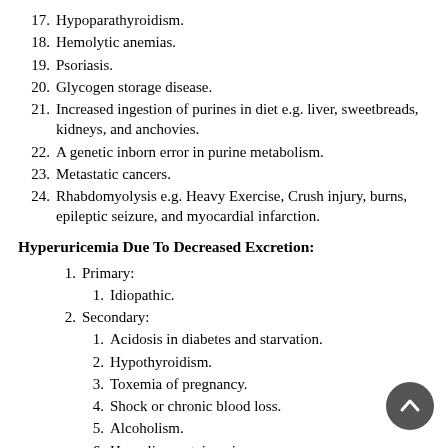17. Hypoparathyroidism.
18. Hemolytic anemias.
19. Psoriasis.
20. Glycogen storage disease.
21. Increased ingestion of purines in diet e.g. liver, sweetbreads, kidneys, and anchovies.
22. A genetic inborn error in purine metabolism.
23. Metastatic cancers.
24. Rhabdomyolysis e.g. Heavy Exercise, Crush injury, burns, epileptic seizure, and myocardial infarction.
Hyperuricemia Due To Decreased Excretion:
1. Primary:
1. Idiopathic.
2. Secondary:
1. Acidosis in diabetes and starvation.
2. Hypothyroidism.
3. Toxemia of pregnancy.
4. Shock or chronic blood loss.
5. Alcoholism.
6. Hyperlipoproteinemia.